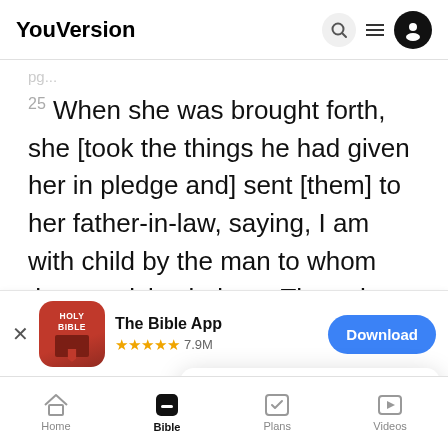YouVersion
25 When she was brought forth, she [took the things he had given her in pledge and] sent [them] to her father-in-law, saying, I am with child by the man to whom these articles belong. Then she
[Figure (screenshot): App store banner for The Bible App (Holy Bible) with red icon, 5 stars, 7.9M ratings, and a blue Download button]
YouVersion uses cookies to personalize your experience. By using our website, you accept our use of cookies as described in our Privacy Policy.
has be
Home | Bible | Plans | Videos